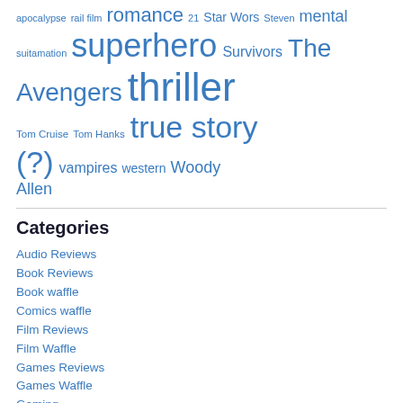apocalypse rail film romance 21 star wars Steven mental suitamation superhero Survivors The Avengers thriller Tom Cruise Tom Hanks true story (?) vampires western Woody Allen
Categories
Audio Reviews
Book Reviews
Book waffle
Comics waffle
Film Reviews
Film Waffle
Games Reviews
Games Waffle
Gaming
Geeky meltdown
Idle musings